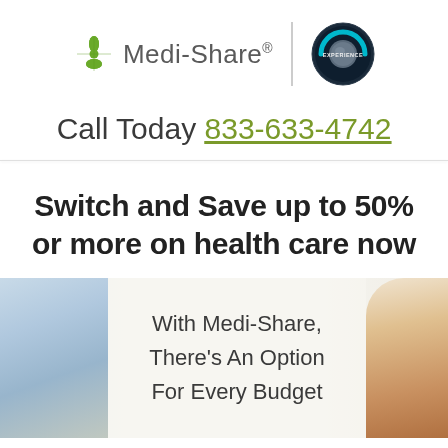[Figure (logo): Medi-Share logo with green cross icon and text, vertical divider, and Experience circular logo on the right]
Call Today 833-633-4742
Switch and Save up to 50% or more on health care now
With Medi-Share, There's An Option For Every Budget
[Figure (photo): Partial photo of a person on the left (blue-grey tones) and partial photo of a smiling person on the right (skin tones visible)]